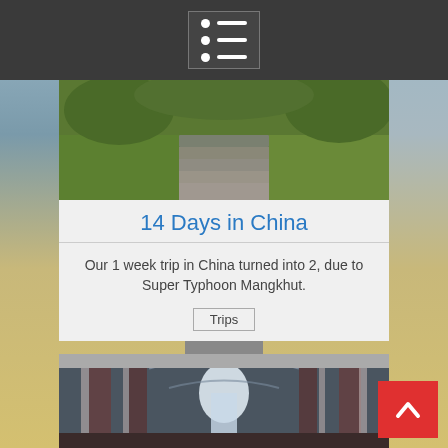Navigation menu icon
[Figure (photo): Outdoor stone steps surrounded by green grass and vegetation, viewed from above]
14 Days in China
Our 1 week trip in China turned into 2, due to Super Typhoon Mangkhut.
Trips
[Figure (photo): Interior of an ornate cathedral or church with tall arched ceilings decorated with red and white striped columns, light streaming through stained glass windows]